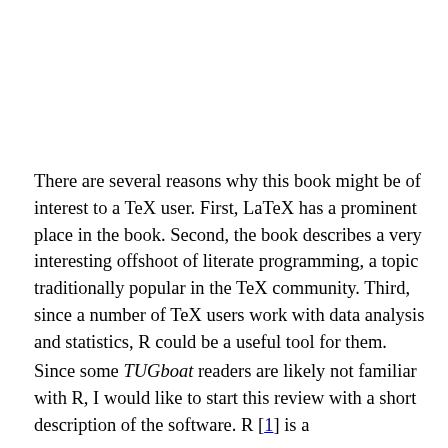There are several reasons why this book might be of interest to a TeX user. First, LaTeX has a prominent place in the book. Second, the book describes a very interesting offshoot of literate programming, a topic traditionally popular in the TeX community. Third, since a number of TeX users work with data analysis and statistics, R could be a useful tool for them.
Since some TUGboat readers are likely not familiar with R, I would like to start this review with a short description of the software. R [1] is a